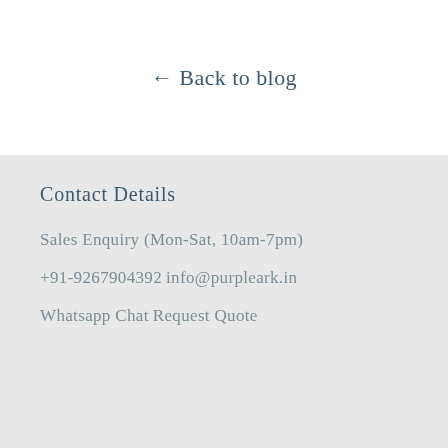← Back to blog
Contact Details
Sales Enquiry (Mon-Sat, 10am-7pm)
+91-9267904392
info@purpleark.in
Whatsapp Chat
Request Quote